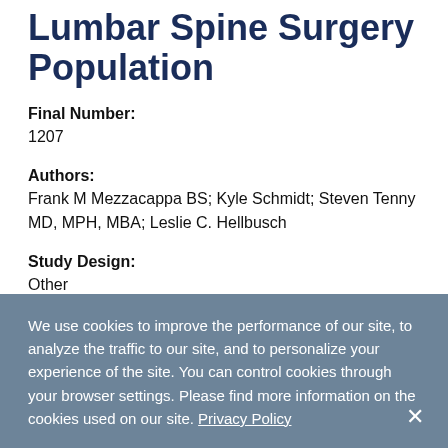Lumbar Spine Surgery Population
Final Number:
1207
Authors:
Frank M Mezzacappa BS; Kyle Schmidt; Steven Tenny MD, MPH, MBA; Leslie C. Hellbusch
Study Design:
Other
We use cookies to improve the performance of our site, to analyze the traffic to our site, and to personalize your experience of the site. You can control cookies through your browser settings. Please find more information on the cookies used on our site. Privacy Policy